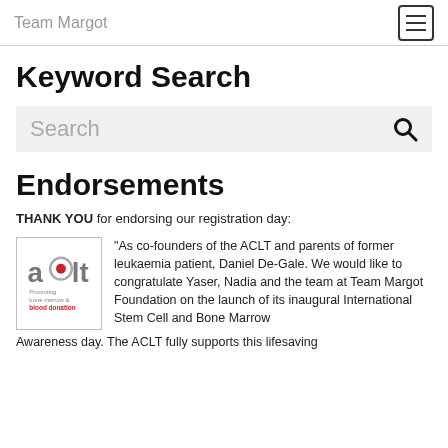Team Margot
Keyword Search
[Figure (screenshot): Search input box with search icon]
Endorsements
THANK YOU for endorsing our registration day:
[Figure (logo): ACLT logo - Promoting bone marrow & blood donation]
“As co-founders of the ACLT and parents of former leukaemia patient, Daniel De-Gale. We would like to congratulate Yaser, Nadia and the team at Team Margot Foundation on the launch of its inaugural International Stem Cell and Bone Marrow Awareness day. The ACLT fully supports this lifesaving